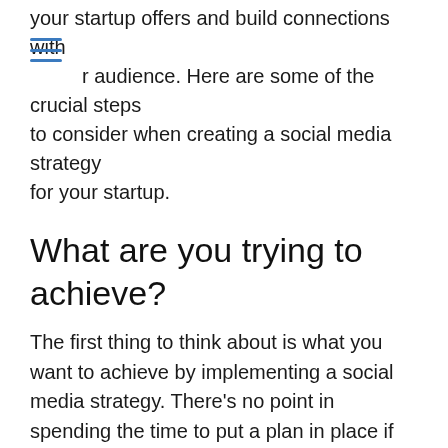your startup offers and build connections with r audience. Here are some of the crucial steps to consider when creating a social media strategy for your startup.
What are you trying to achieve?
The first thing to think about is what you want to achieve by implementing a social media strategy. There’s no point in spending the time to put a plan in place if you have no idea what you want to do, and having goals are an essential part of figuring out where you should be focusing your efforts.
We’ve got a whole blog post all about setting effective goals, but to summarise your goals